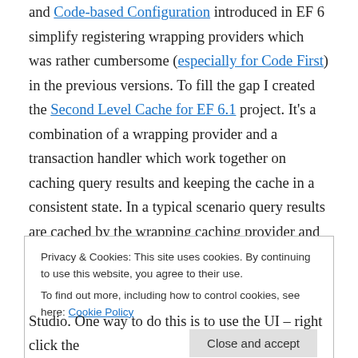and Code-based Configuration introduced in EF 6 simplify registering wrapping providers which was rather cumbersome (especially for Code First) in the previous versions. To fill the gap I created the Second Level Cache for EF 6.1 project. It's a combination of a wrapping provider and a transaction handler which work together on caching query results and keeping the cache in a consistent state. In a typical scenario query results are cached by the wrapping caching provider and are invalidated by the transaction handler if an entity set on which cached query results depend was modified (note
Privacy & Cookies: This site uses cookies. By continuing to use this website, you agree to their use.
To find out more, including how to control cookies, see here: Cookie Policy
Close and accept
Studio. One way to do this is to use the UI – right click the